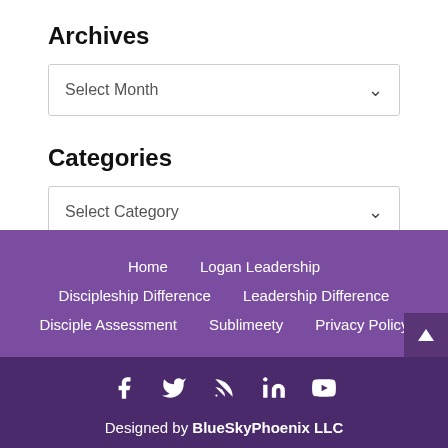Archives
Select Month
Categories
Select Category
Home
Logan Leadership
Discipleship Difference
Leadership Difference
Disciple Assessment
Sublimeety
Privacy Policy
Designed by BlueSkyPhoenix LLC